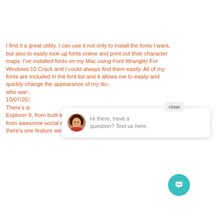I find it a great utility. I can use it not only to install the fonts I want, but also to easily look up fonts online and print out their character maps. I've installed fonts on my Mac using Font Wrangler For Windows 10 Crack and I could always find them easily. All of my fonts are included in the font list and it allows me to easily and quickly change the appearance of my do[cuments...] who war[...] 10/07/20[...] There's a[...] Explorer 9, from built-in touch-screen capability to improved search, from awesome social media integration to enhanced security. But there's one feature we want to hear a lot more about: ActiveX
[Figure (screenshot): Chat widget popup with avatar photo of a woman and text 'Hi there, have a question? Text us here.' with a close button and teal chat icon button.]